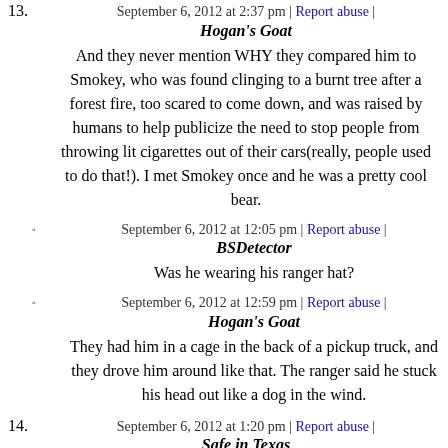13. September 6, 2012 at 2:37 pm | Report abuse | Hogan's Goat
And they never mention WHY they compared him to Smokey, who was found clinging to a burnt tree after a forest fire, too scared to come down, and was raised by humans to help publicize the need to stop people from throwing lit cigarettes out of their cars(really, people used to do that!). I met Smokey once and he was a pretty cool bear.
○ September 6, 2012 at 12:05 pm | Report abuse | BSDetector
Was he wearing his ranger hat?
○ September 6, 2012 at 12:59 pm | Report abuse | Hogan's Goat
They had him in a cage in the back of a pickup truck, and they drove him around like that. The ranger said he stuck his head out like a dog in the wind.
14. September 6, 2012 at 1:20 pm | Report abuse | Safe in Texas